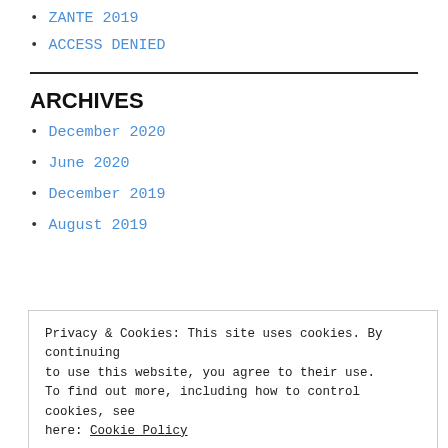ZANTE 2019
ACCESS DENIED
ARCHIVES
December 2020
June 2020
December 2019
August 2019
Privacy & Cookies: This site uses cookies. By continuing to use this website, you agree to their use.
To find out more, including how to control cookies, see here: Cookie Policy
October 2018